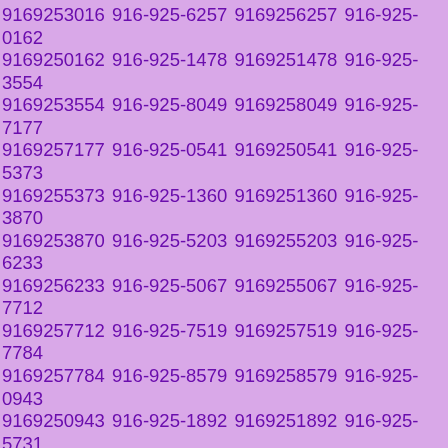9169253016 916-925-6257 9169256257 916-925-0162 9169250162 916-925-1478 9169251478 916-925-3554 9169253554 916-925-8049 9169258049 916-925-7177 9169257177 916-925-0541 9169250541 916-925-5373 9169255373 916-925-1360 9169251360 916-925-3870 9169253870 916-925-5203 9169255203 916-925-6233 9169256233 916-925-5067 9169255067 916-925-7712 9169257712 916-925-7519 9169257519 916-925-7784 9169257784 916-925-8579 9169258579 916-925-0943 9169250943 916-925-1892 9169251892 916-925-5731 9169255731 916-925-9325 9169259325 916-925-6337 9169256337 916-925-7758 9169257758 916-925-0884 9169250884 916-925-2783 9169252783 916-925-2299 9169252299 916-925-6204 9169256204 916-925-4527 9169254527 916-925-0866 9169250866 916-925-7806 9169257806 916-925-8915 9169258915 916-925-7352 9169257352 916-925-4855 9169254855 916-925-4673 9169254673 916-925-0358 9169250358 916-925-5227 9169255227 916-925-2457 9169252457 916-925-5915 9169255915 916-925-6374 9169256374 916-925-5756 9169255756 916-925-1508 9169251508 916-925-4169